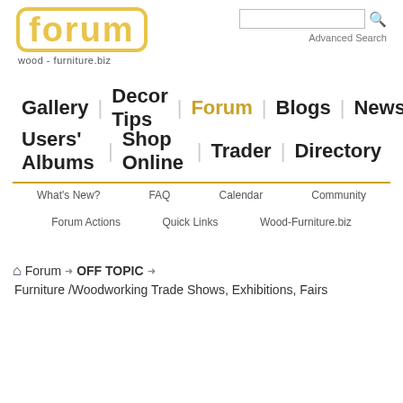[Figure (logo): Forum logo with rounded yellow border text 'forum' and tagline 'wood - furniture.biz']
Advanced Search
Gallery  Decor Tips  Forum  Blogs  News
Users' Albums  Shop Online  Trader  Directory
What's New?  FAQ  Calendar  Community
Forum Actions  Quick Links  Wood-Furniture.biz
Forum  OFF TOPIC  Furniture /Woodworking Trade Shows, Exhibitions, Fairs